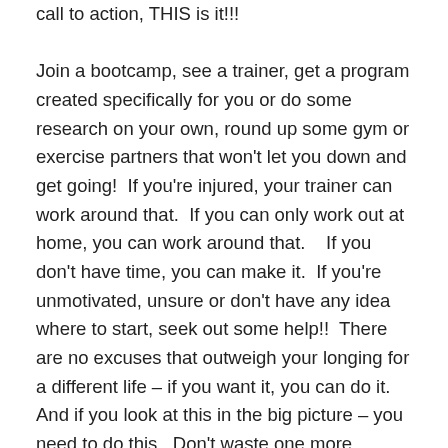call to action, THIS is it!!!

Join a bootcamp, see a trainer, get a program created specifically for you or do some research on your own, round up some gym or exercise partners that won't let you down and get going!  If you're injured, your trainer can work around that.  If you can only work out at home, you can work around that.   If you don't have time, you can make it.  If you're unmotivated, unsure or don't have any idea where to start, seek out some help!!  There are no excuses that outweigh your longing for a different life – if you want it, you can do it.  And if you look at this in the big picture – you need to do this.  Don't waste one more minute of your life being unhappy with where you are.  You are totally capable of changing things around and it can happen in a very short amount of time if you are committed and disciplined to your plan.  You just have to